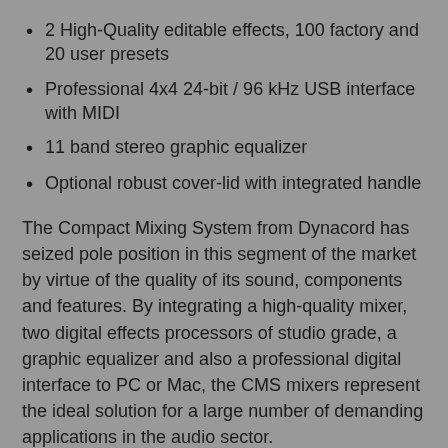2 High-Quality editable effects, 100 factory and 20 user presets
Professional 4x4 24-bit / 96 kHz USB interface with MIDI
11 band stereo graphic equalizer
Optional robust cover-lid with integrated handle
The Compact Mixing System from Dynacord has seized pole position in this segment of the market by virtue of the quality of its sound, components and features. By integrating a high-quality mixer, two digital effects processors of studio grade, a graphic equalizer and also a professional digital interface to PC or Mac, the CMS mixers represent the ideal solution for a large number of demanding applications in the audio sector.
The mixing section starts with 10 lowest noise,